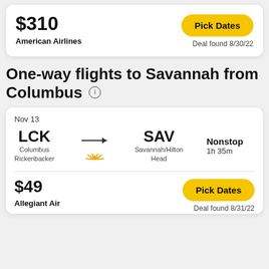$310
American Airlines
Pick Dates
Deal found 8/30/22
One-way flights to Savannah from Columbus
Nov 13
LCK → SAV
Columbus Rickenbacker → Savannah/Hilton Head
Nonstop
1h 35m
$49
Allegiant Air
Pick Dates
Deal found 8/31/22